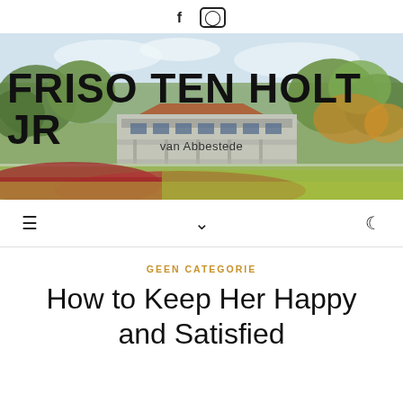f  ⓘ
[Figure (illustration): Watercolor painting of a building (Van Abbestede) surrounded by trees and landscape, used as website banner header with large text 'FRISO TEN HOLT JR' overlaid on it and subtitle 'van Abbestede']
GEEN CATEGORIE
How to Keep Her Happy and Satisfied